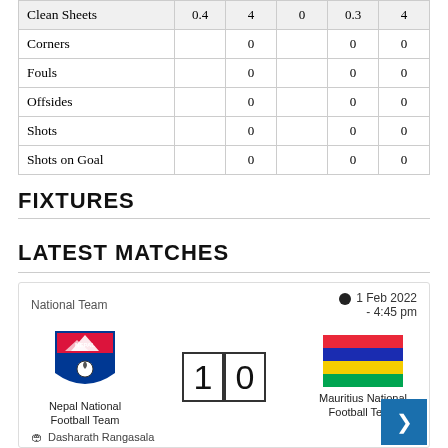|  |  |  |  |  |  |
| --- | --- | --- | --- | --- | --- |
| Clean Sheets | 0.4 | 4 | 0 | 0.3 | 4 |
| Corners |  | 0 |  | 0 |  | 0 |
| Fouls |  | 0 |  | 0 |  | 0 |
| Offsides |  | 0 |  | 0 |  | 0 |
| Shots |  | 0 |  | 0 |  | 0 |
| Shots on Goal |  | 0 |  | 0 |  | 0 |
FIXTURES
LATEST MATCHES
National Team | 1 Feb 2022 - 4:45 pm
Nepal National Football Team  1 | 0  Mauritius National Football Team
Dasharath Rangasala